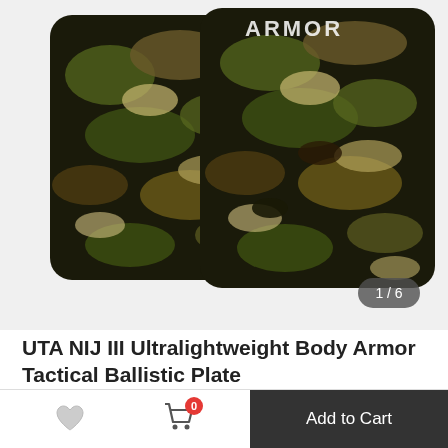[Figure (photo): Two multicam/camo body armor plates shown from the front; one behind the other with the ARMOR text visible on the front plate. Image counter '1 / 6' shown at bottom right.]
UTA NIJ III Ultralightweight Body Armor Tactical Ballistic Plate
USD $ 289.99
Color
[Figure (photo): Two color swatch thumbnails: dark/black plate and multicam camo plate]
Add to Cart